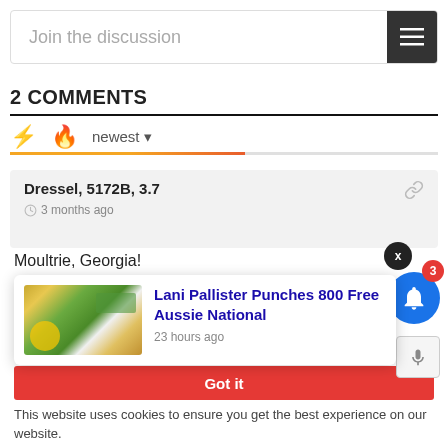Join the discussion
2 COMMENTS
newest
Dressel, 5172B, 3.7
3 months ago
Moultrie, Georgia!
[Figure (screenshot): Popup notification card showing swimming photo and article title 'Lani Pallister Punches 800 Free Aussie National' with timestamp '23 hours ago']
Got it
This website uses cookies to ensure you get the best experience on our website.